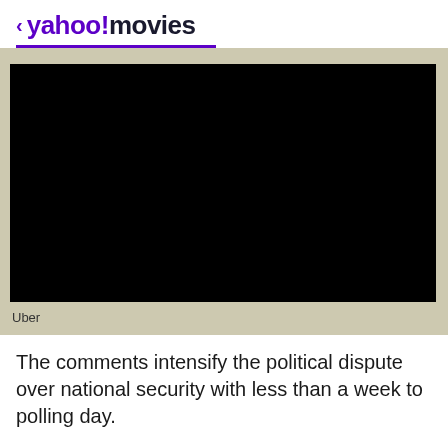< yahoo!movies
[Figure (screenshot): Black video player rectangle embedded in a tan/beige background section]
Uber
The comments intensify the political dispute over national security with less than a week to polling day.